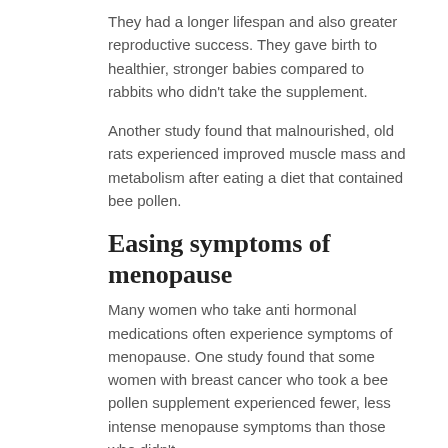They had a longer lifespan and also greater reproductive success. They gave birth to healthier, stronger babies compared to rabbits who didn't take the supplement.
Another study found that malnourished, old rats experienced improved muscle mass and metabolism after eating a diet that contained bee pollen.
Easing symptoms of menopause
Many women who take anti hormonal medications often experience symptoms of menopause. One study found that some women with breast cancer who took a bee pollen supplement experienced fewer, less intense menopause symptoms than those who didn't.
Reducing stress
Bee pollen can increase blood flow to the body's